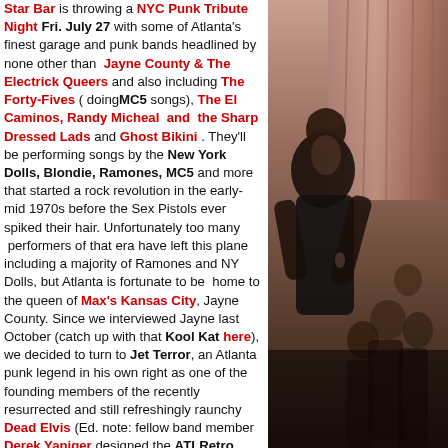Star Bar is throwing a NYC Punk Tribute Night Fri. July 27 with some of Atlanta's finest garage and punk bands headlined by none other than Jayne County & The Electrick Queers and also including The Forty-Fives (doingMC5 songs), The El Caminos, Randy Micheal and the Sharp Dressed Lads and Ghost Bikini. They'll be performing songs by the New York Dolls, Blondie, Ramones, MC5 and more that started a rock revolution in the early-mid 1970s before the Sex Pistols ever spiked their hair. Unfortunately too many performers of that era have left this plane including a majority of Ramones and NY Dolls, but Atlanta is fortunate to be home to the queen of Max's Kansas City, Jayne County. Since we interviewed Jayne last October (catch up with that Kool Kat here), we decided to turn to Jet Terror, an Atlanta punk legend in his own right as one of the founding members of the recently resurrected and still refreshingly raunchy Dead Elvis (Ed. note: fellow band member Derek Yaniger designed the ATLRetro logo; read an interview with him and catch up some more on the history of Dead Elvis here.)
[Figure (photo): Black and white photo of a person performing or standing at a venue, with crowd visible in background]